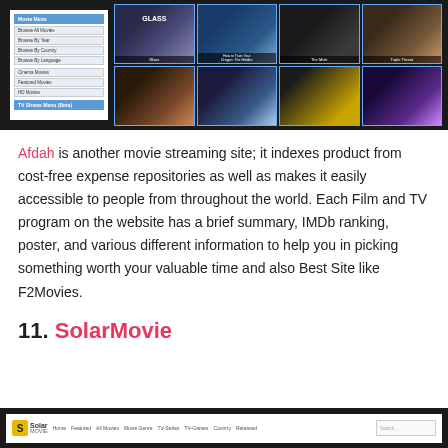[Figure (screenshot): Screenshot of Afdah movie streaming website showing a sidebar menu with Browse All Movies, Browse By Year, Browse By Country, Browse By Language, Cinema Movies, Featured Movies, HD Movies, TV Shows Menu options, and a grid of movie thumbnails including Glass, How to Train Your Dragon: The Hidden, The Mule, Triple Threat, and other movies.]
Afdah is another movie streaming site; it indexes product from cost-free expense repositories as well as makes it easily accessible to people from throughout the world. Each Film and TV program on the website has a brief summary, IMDb ranking, poster, and various different information to help you in picking something worth your valuable time and also Best Site like F2Movies.
11. SolarMovie
[Figure (screenshot): Screenshot of SolarMovie website header showing the Solar logo with golden S icon, and navigation menu items including Home, Featured, All Movies, Movie Genre, TV-Series, TV-Games, Country, Released, and a search bar.]